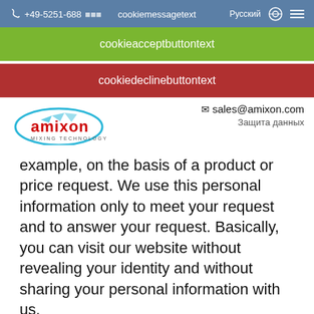+49-5251-688080 · Pусский · cookiemessagetext
cookieacceptbuttontext
cookiedeclinebuttontext
[Figure (logo): amixon MIXING TECHNOLOGY logo with blue oval and arrow elements]
✉ sales@amixon.com
Защита данных
example, on the basis of a product or price request. We use this personal information only to meet your request and to answer your request. Basically, you can visit our website without revealing your identity and without sharing your personal information with us.
Collection of personal data when you visit